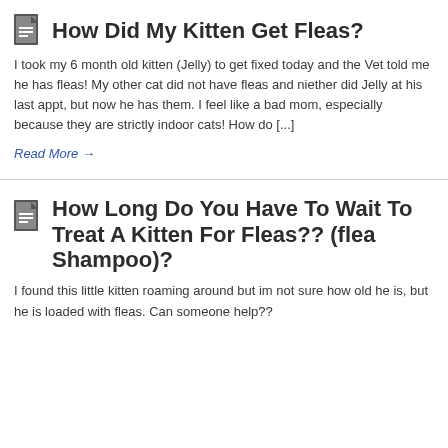How Did My Kitten Get Fleas?
I took my 6 month old kitten (Jelly) to get fixed today and the Vet told me he has fleas! My other cat did not have fleas and niether did Jelly at his last appt, but now he has them. I feel like a bad mom, especially because they are strictly indoor cats! How do [...]
Read More →
How Long Do You Have To Wait To Treat A Kitten For Fleas?? (flea Shampoo)?
I found this little kitten roaming around but im not sure how old he is, but he is loaded with fleas. Can someone help??